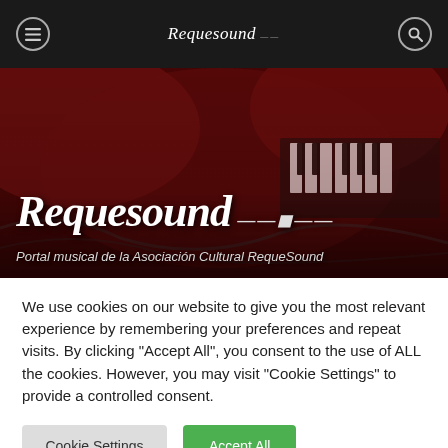Requesound
[Figure (photo): Background photo of music instruments and equipment on stage with red/dark lighting overlay, showing keyboards and cables]
Requesound
Portal musical de la Asociación Cultural RequeSound
We use cookies on our website to give you the most relevant experience by remembering your preferences and repeat visits. By clicking "Accept All", you consent to the use of ALL the cookies. However, you may visit "Cookie Settings" to provide a controlled consent.
Cookie Settings | Accept All